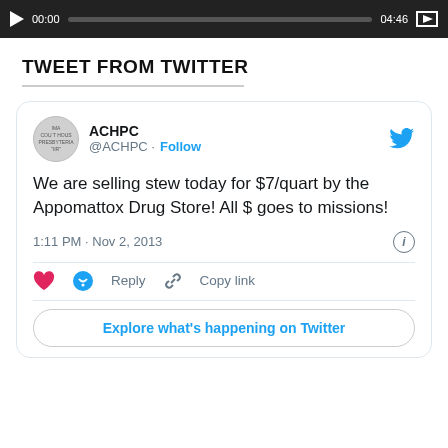[Figure (screenshot): Video player bar showing playback time 00:00, progress bar, total time 04:46, and fullscreen icon on dark background]
TWEET FROM TWITTER
[Figure (screenshot): Embedded tweet from @ACHPC with Twitter bird logo. Username: ACHPC, handle: @ACHPC, with Follow link. Tweet text: We are selling stew today for $7/quart by the Appomattox Drug Store! All $ goes to missions! Timestamp: 1:11 PM · Nov 2, 2013. Actions: heart, Reply, Copy link. Button: Explore what's happening on Twitter]